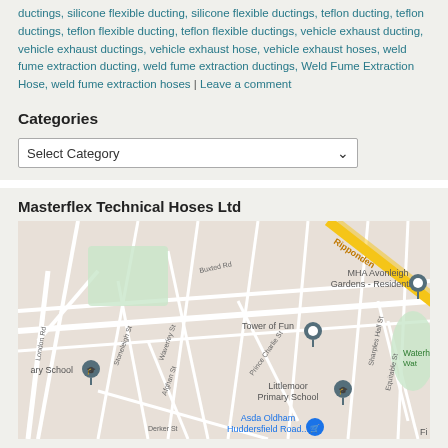ductings, silicone flexible ducting, silicone flexible ductings, teflon ducting, teflon ductings, teflon flexible ducting, teflon flexible ductings, vehicle exhaust ducting, vehicle exhaust ductings, vehicle exhaust hose, vehicle exhaust hoses, weld fume extraction ducting, weld fume extraction ductings, Weld Fume Extraction Hose, weld fume extraction hoses | Leave a comment
Categories
Select Category
Masterflex Technical Hoses Ltd
[Figure (map): Google Maps embedded map showing the area around Masterflex Technical Hoses Ltd in Oldham/Huddersfield area, UK. Visible landmarks include MHA Avonleigh Gardens Residential, Tower of Fun, Littlemoor Primary School, Waterhead Rugby, Asda Oldham Huddersfield Road, and street names including Buxted Rd, London Rd, Stoneleigh St, Waverley St, Afghan St, Prince Charlie St, Derker St, Sharples Hall St, Equitable St, Ripponden Rd (yellow road). Map pins shown for several locations.]